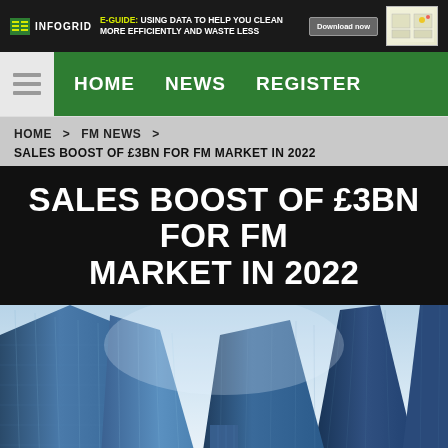INFOGRID | E-GUIDE: USING DATA TO HELP YOU CLEAN MORE EFFICIENTLY AND WASTE LESS | Download now
HOME | NEWS | REGISTER
HOME > FM NEWS >
SALES BOOST OF £3BN FOR FM MARKET IN 2022
SALES BOOST OF £3BN FOR FM MARKET IN 2022
[Figure (photo): Looking up at modern glass skyscraper buildings against a light blue sky, perspective from ground level]